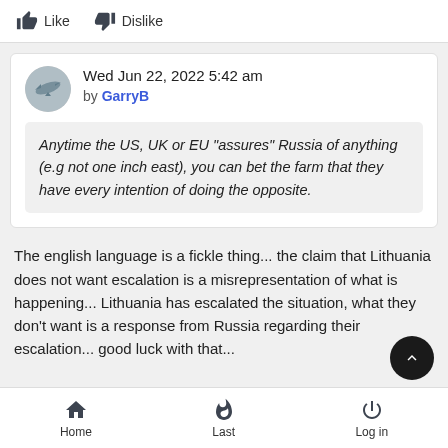Like  Dislike
Wed Jun 22, 2022 5:42 am
by GarryB
Anytime the US, UK or EU "assures" Russia of anything (e.g not one inch east), you can bet the farm that they have every intention of doing the opposite.
The english language is a fickle thing... the claim that Lithuania does not want escalation is a misrepresentation of what is happening... Lithuania has escalated the situation, what they don't want is a response from Russia regarding their escalation... good luck with that...
Home  Last  Log in